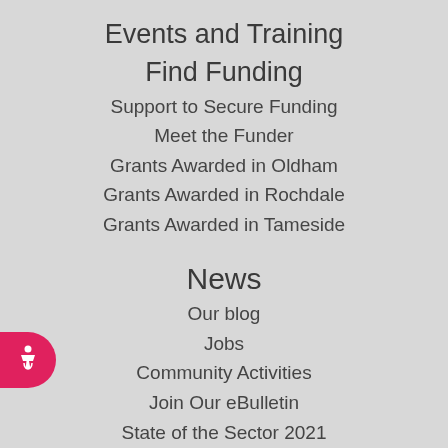Events and Training
Find Funding
Support to Secure Funding
Meet the Funder
Grants Awarded in Oldham
Grants Awarded in Rochdale
Grants Awarded in Tameside
News
Our blog
Jobs
Community Activities
Join Our eBulletin
State of the Sector 2021
About us
Action Together in Oldham
Action Together in Rochdale
Action Together in Tameside